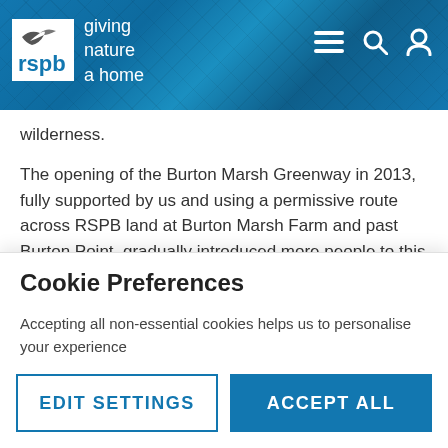[Figure (logo): RSPB logo with bird silhouette and text 'giving nature a home' on blue header background with cracked texture]
wilderness.
The opening of the Burton Marsh Greenway in 2013, fully supported by us and using a permissive route across RSPB land at Burton Marsh Farm and past Burton Point, gradually introduced more people to this quiet corner of the peninsula, but generally in a very positive way.
Whilst it is gratifying that new visitors share our love of the
Cookie Preferences
Accepting all non-essential cookies helps us to personalise your experience
EDIT SETTINGS
ACCEPT ALL